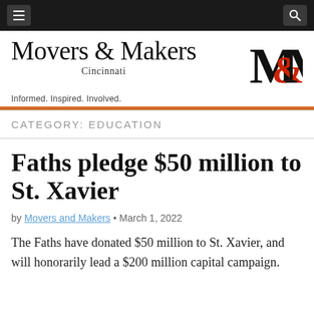Movers & Makers Cincinnati — Navigation bar
Movers & Makers Cincinnati
Informed. Inspired. Involved.
CATEGORY: EDUCATION
Faths pledge $50 million to St. Xavier
by Movers and Makers • March 1, 2022
The Faths have donated $50 million to St. Xavier, and will honorarily lead a $200 million capital campaign.